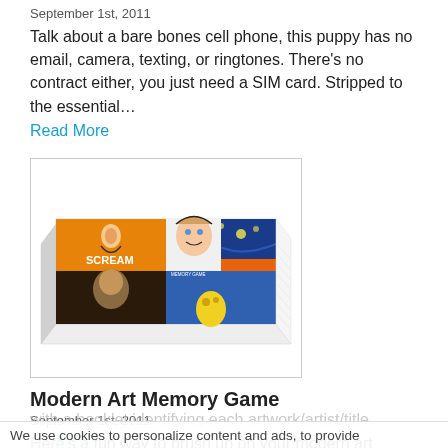September 1st, 2011
Talk about a bare bones cell phone, this puppy has no email, camera, texting, or ringtones. There's no contract either, you just need a SIM card. Stripped to the essential…
Read More
[Figure (photo): Product photo of Modern Art Memory Game box showing collage of famous artworks including Scream, Starry Night, and pop art images with 'MODERN ART MEMORY GAME' text on orange side]
Modern Art Memory Game
September 1st, 2011
Here's a fun way to brush up on your modern art knowledge: the Modern Art Memory Game from AMMO BOOKS. It comes with a booklet identifying each artwork/artist/title, so don't…
We use cookies to personalize content and ads, to provide